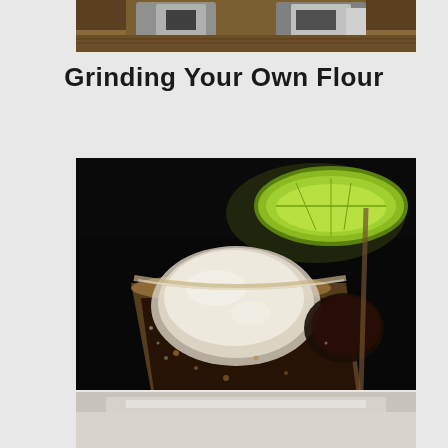[Figure (photo): Partial top view of what appears to be a kitchen appliance or grinder, metallic surfaces visible, cropped at bottom of frame]
Grinding Your Own Flour
[Figure (photo): Close-up photograph of a cold drink in a glass with ice cubes and a lime wedge on top, dark brown liquid visible, dark background]
[Figure (photo): Bottom portion of the cold drink image, reflection or continuation of the drink photo, lighter tones]